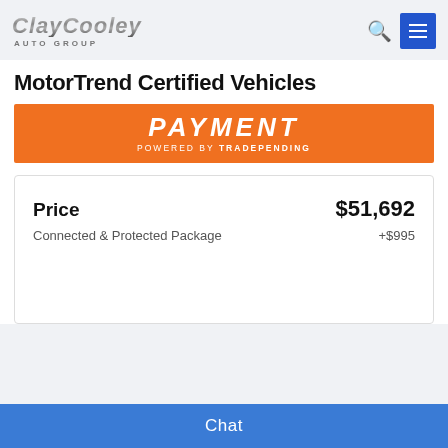CLAYCOOLEY AUTO GROUP
MotorTrend Certified Vehicles
[Figure (other): Orange banner with 'PAYMENT' text and 'POWERED BY TRADEPENDING' subtitle]
| Price | $51,692 |
| Connected & Protected Package | +$995 |
Chat